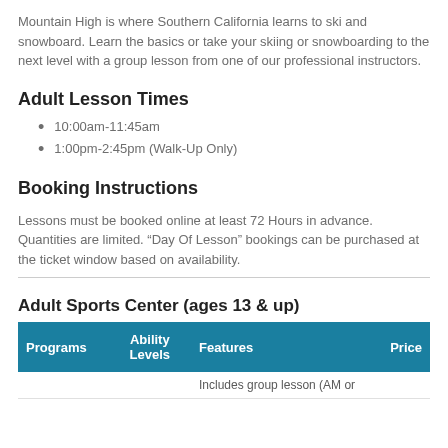Mountain High is where Southern California learns to ski and snowboard. Learn the basics or take your skiing or snowboarding to the next level with a group lesson from one of our professional instructors.
Adult Lesson Times
10:00am-11:45am
1:00pm-2:45pm (Walk-Up Only)
Booking Instructions
Lessons must be booked online at least 72 Hours in advance. Quantities are limited. “Day Of Lesson” bookings can be purchased at the ticket window based on availability.
Adult Sports Center (ages 13 & up)
| Programs | Ability Levels | Features | Price |
| --- | --- | --- | --- |
|  |  | Includes group lesson (AM or |  |
Includes group lesson (AM or